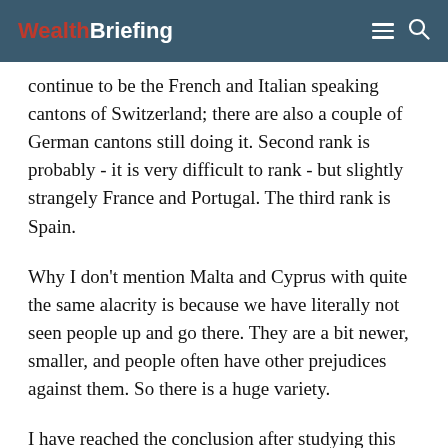WealthBriefing
continue to be the French and Italian speaking cantons of Switzerland; there are also a couple of German cantons still doing it. Second rank is probably - it is very difficult to rank - but slightly strangely France and Portugal. The third rank is Spain.
Why I don’t mention Malta and Cyprus with quite the same alacrity is because we have literally not seen people up and go there. They are a bit newer, smaller, and people often have other prejudices against them. So there is a huge variety.
I have reached the conclusion after studying this for various clients, done the tables, compared the inside leg measurements for each jurisdiction that